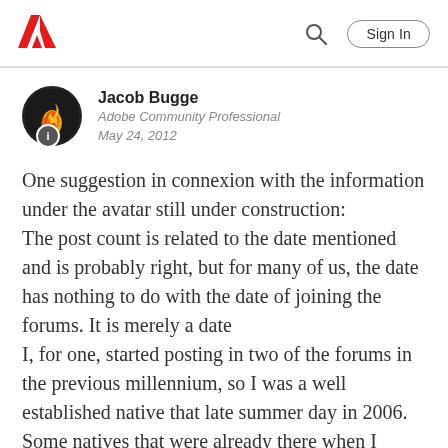Adobe | Sign In
Jacob Bugge
Adobe Community Professional
May 24, 2012
One suggestion in connexion with the information under the avatar still under construction:
The post count is related to the date mentioned and is probably right, but for many of us, the date has nothing to do with the date of joining the forums. It is merely a date
I, for one, started posting in two of the forums in the previous millennium, so I was a well established native that late summer day in 2006. Some natives that were already there when I joined have even